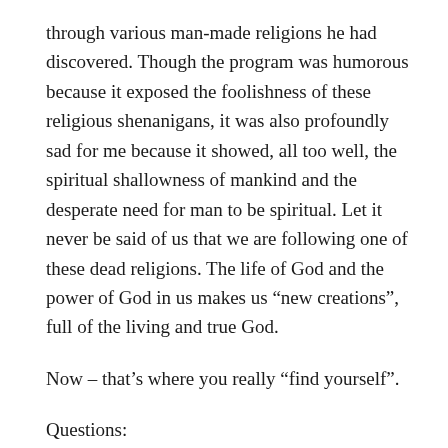through various man-made religions he had discovered. Though the program was humorous because it exposed the foolishness of these religious shenanigans, it was also profoundly sad for me because it showed, all too well, the spiritual shallowness of mankind and the desperate need for man to be spiritual. Let it never be said of us that we are following one of these dead religions. The life of God and the power of God in us makes us “new creations”, full of the living and true God.
Now – that’s where you really “find yourself”.
Questions: